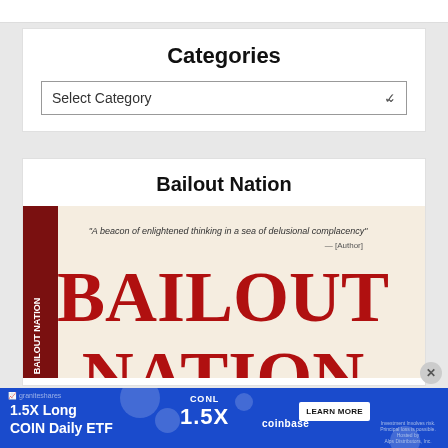Categories
Select Category
Bailout Nation
[Figure (photo): Book cover of 'Bailout Nation' with large red text on a tan/beige background, showing a spine on the left side. A quote appears at the top: 'A beacon of enlightened thinking in a sea of delusional complacency']
[Figure (advertisement): Blue advertisement banner for '1.5X Long COIN Daily ETF' (CONL) by GraniteShares, featuring Coinbase logo and '1.5X' in large text, with a 'LEARN MORE' button and investment disclaimer text.]